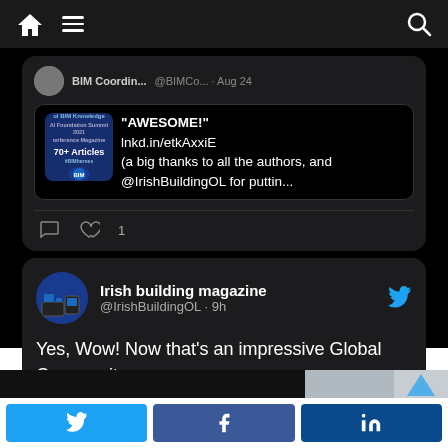[Figure (screenshot): Mobile app navigation bar with home icon, hamburger menu, and search icon on dark background]
[Figure (screenshot): Partial tweet from BIM Coordinator account showing 'AWESOME! lnkd.in/etkAxxiE (a big thanks to all the authors, and @IrishBuildingOL for puttin...' with BIM Knowledge magazine logo, dated Aug 24, with 1 like]
[Figure (screenshot): Tweet from Irish building magazine (@IrishBuildingOL 9h): 'Yes, Wow! Now that's an impressive Global Community.']
[Figure (screenshot): Share buttons bar at bottom: Twitter (blue), Facebook (blue), LinkedIn (dark blue)]